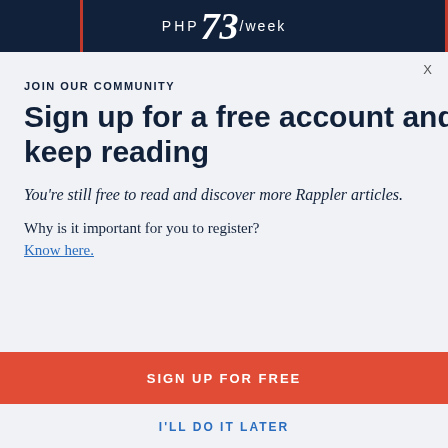PHP 73/week
X
JOIN OUR COMMUNITY
Sign up for a free account and keep reading
You're still free to read and discover more Rappler articles.
Why is it important for you to register?
Know here.
SIGN UP FOR FREE
I'LL DO IT LATER